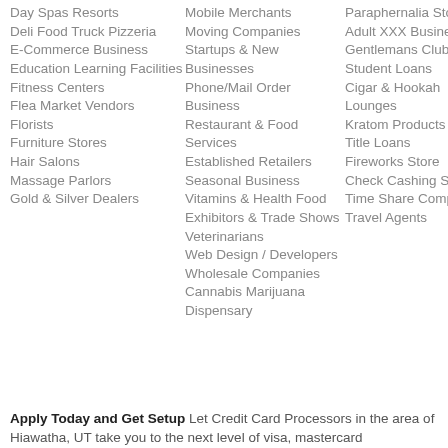Day Spas Resorts
Deli Food Truck Pizzeria
E-Commerce Business
Education Learning Facilities
Fitness Centers
Flea Market Vendors
Florists
Furniture Stores
Hair Salons
Massage Parlors
Gold & Silver Dealers
Mobile Merchants
Moving Companies
Startups & New Businesses
Phone/Mail Order Business
Restaurant & Food Services
Established Retailers
Seasonal Business
Vitamins & Health Food
Exhibitors & Trade Shows
Veterinarians
Web Design / Developers
Wholesale Companies
Cannabis Marijuana Dispensary
Paraphernalia Store
Adult XXX Business
Gentlemans Clubs
Student Loans
Cigar & Hookah Lounges
Kratom Products
Title Loans
Fireworks Store
Check Cashing Stores
Time Share Companies
Travel Agents
Apply Today and Get Setup Let Credit Card Processors in the area of Hiawatha, UT take you to the next level of visa, mastercard